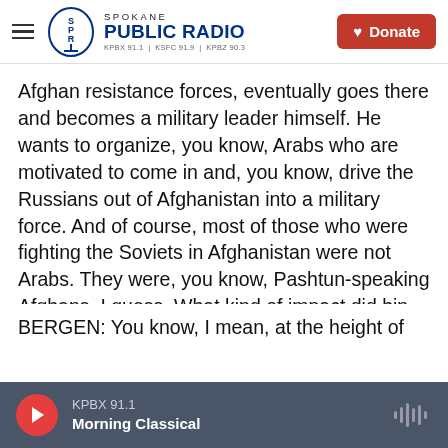Spokane Public Radio — KPBX 91.1 | KSFC 91.9 | KPBZ 90.3 — Donate
Afghan resistance forces, eventually goes there and becomes a military leader himself. He wants to organize, you know, Arabs who are motivated to come in and, you know, drive the Russians out of Afghanistan into a military force. And of course, most of those who were fighting the Soviets in Afghanistan were not Arabs. They were, you know, Pashtun-speaking Afghans, I guess. What kind of impact did bin Laden have as a military leader in Afghanistan? And how did he spin it? How did he play it in creating his image?
BERGEN: You know, I mean, at the height of the war
KPBX 91.1 — Morning Classical